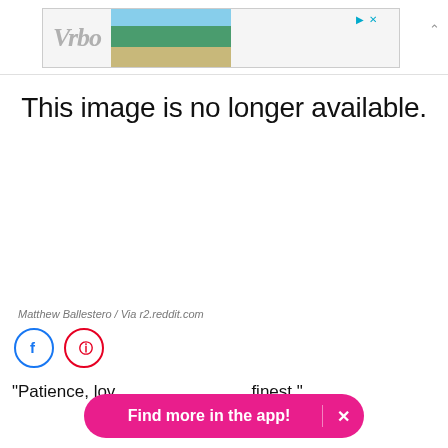[Figure (screenshot): Vrbo advertisement banner with logo and beach house image]
This image is no longer available.
Matthew Ballestero / Via r2.reddit.com
[Figure (illustration): Social sharing icons: Facebook (blue circle) and Pinterest (red circle)]
"Patience, lov... finest."
Find more in the app!